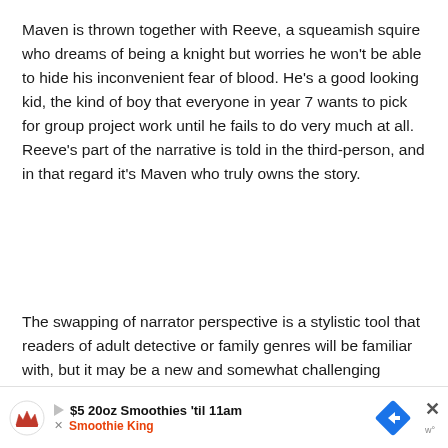Maven is thrown together with Reeve, a squeamish squire who dreams of being a knight but worries he won't be able to hide his inconvenient fear of blood. He's a good looking kid, the kind of boy that everyone in year 7 wants to pick for group project work until he fails to do very much at all. Reeve's part of the narrative is told in the third-person, and in that regard it's Maven who truly owns the story.
The swapping of narrator perspective is a stylistic tool that readers of adult detective or family genres will be familiar with, but it may be a new and somewhat challenging concept for middle school readers. The kids will soon settle in, however, as the story charges along, pulling them deeper and deeper into the fascinating va... ...he...king.
[Figure (other): Advertisement banner for Smoothie King: '$5 20oz Smoothies til 11am' with Smoothie King logo, a blue navigation diamond icon, and a close X button.]